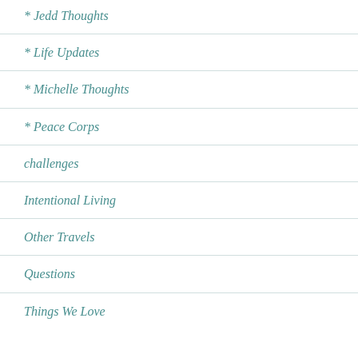* Jedd Thoughts
* Life Updates
* Michelle Thoughts
* Peace Corps
challenges
Intentional Living
Other Travels
Questions
Things We Love